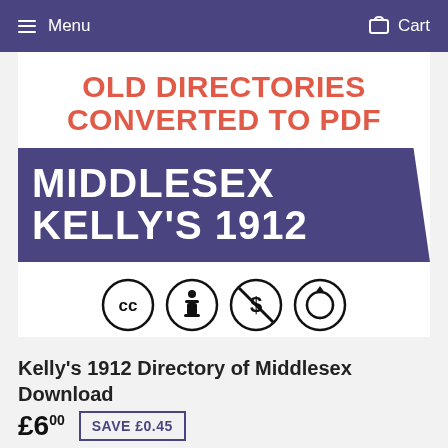Menu   Cart
[Figure (illustration): Product image for Kelly's 1912 Directory of Middlesex PDF download. Shows text 'OLD DIRECTORIES CONVERTED TO PDF' in red/salmon bold text, then a dark purple/navy banner with 'MIDDLESEX KELLY'S 1912' in large white bold text, followed by four Creative Commons license icons: CC, Attribution, Non-Commercial, Share-Alike.]
Kelly's 1912 Directory of Middlesex Download
£6.00  SAVE £0.45